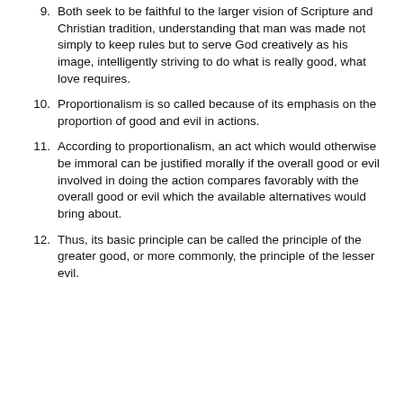9. Both seek to be faithful to the larger vision of Scripture and Christian tradition, understanding that man was made not simply to keep rules but to serve God creatively as his image, intelligently striving to do what is really good, what love requires.
10. Proportionalism is so called because of its emphasis on the proportion of good and evil in actions.
11. According to proportionalism, an act which would otherwise be immoral can be justified morally if the overall good or evil involved in doing the action compares favorably with the overall good or evil which the available alternatives would bring about.
12. Thus, its basic principle can be called the principle of the greater good, or more commonly, the principle of the lesser evil.